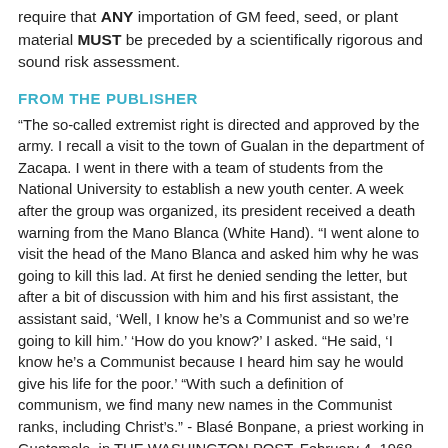require that ANY importation of GM feed, seed, or plant material MUST be preceded by a scientifically rigorous and sound risk assessment.
FROM THE PUBLISHER
“The so-called extremist right is directed and approved by the army. I recall a visit to the town of Gualan in the department of Zacapa. I went in there with a team of students from the National University to establish a new youth center. A week after the group was organized, its president received a death warning from the Mano Blanca (White Hand). “I went alone to visit the head of the Mano Blanca and asked him why he was going to kill this lad. At first he denied sending the letter, but after a bit of discussion with him and his first assistant, the assistant said, ‘Well, I know he’s a Communist and so we’re going to kill him.’ ‘How do you know?’ I asked. “He said, ‘I know he’s a Communist because I heard him say he would give his life for the poor.’ “With such a definition of communism, we find many new names in the Communist ranks, including Christ’s.” - Blasé Bonpane, a priest working in Guatemala, in THE WASHINGTON POST, February 4, 1968 Some people say Christ is God, and other people say Christ was a great man, but not divine. For the purposes of this column, it really doesn’t make any difference if Christ was God or man, or both. What we know is that His life is chronicled in the New Testament by four different